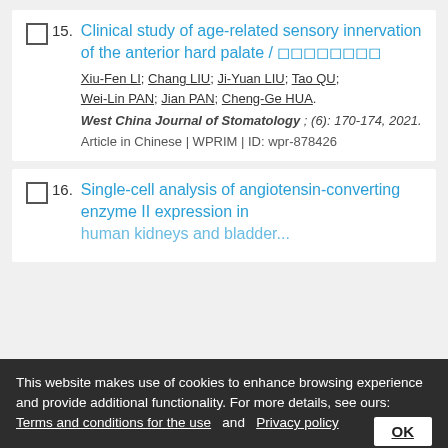15. Clinical study of age-related sensory innervation of the anterior hard palate / □□□□□□□□
Xiu-Fen LI; Chang LIU; Ji-Yuan LIU; Tao QU; Wei-Lin PAN; Jian PAN; Cheng-Ge HUA.
West China Journal of Stomatology ; (6): 170-174, 2021.
Article in Chinese | WPRIM | ID: wpr-878426
16. Single-cell analysis of angiotensin-converting enzyme II expression in human kidneys and bladder...
This website makes use of cookies to enhance browsing experience and provide additional functionality. For more details, see ours: Terms and conditions for the use   and   Privacy policy